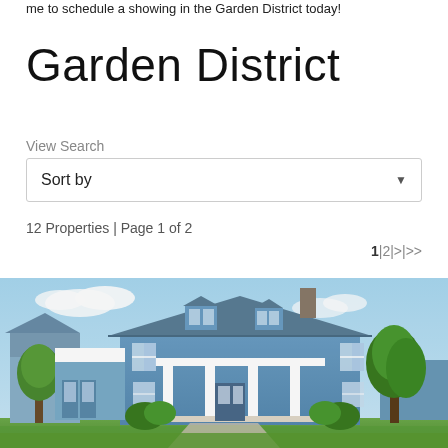me to schedule a showing in the Garden District today!
Garden District
View Search
Sort by
12 Properties | Page 1 of 2
1 | 2 | > | >>
[Figure (photo): Exterior photo of a large blue colonial-style house with white trim, front porch with columns, dormer windows, and mature trees in a residential neighborhood on a sunny day.]